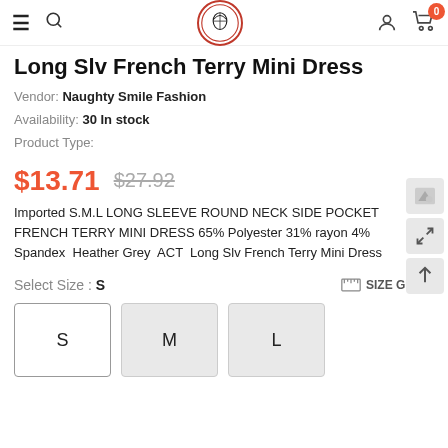Navigation bar with menu, search, logo, user account, and cart (0 items)
Long Slv French Terry Mini Dress
Vendor: Naughty Smile Fashion
Availability: 30 In stock
Product Type:
$13.71  $27.92
Imported S.M.L LONG SLEEVE ROUND NECK SIDE POCKET FRENCH TERRY MINI DRESS 65% Polyester 31% rayon 4% Spandex  Heather Grey  ACT  Long Slv French Terry Mini Dress
Select Size : S
SIZE GUIDE
S  M  L